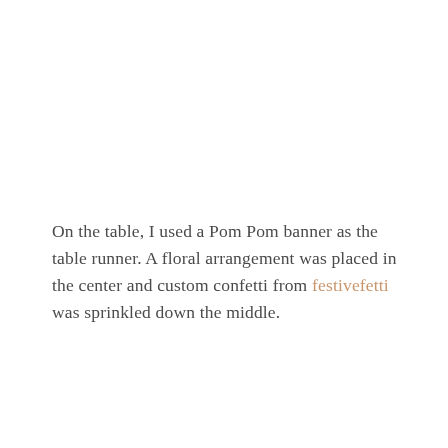On the table, I used a Pom Pom banner as the table runner. A floral arrangement was placed in the center and custom confetti from festivefetti was sprinkled down the middle.